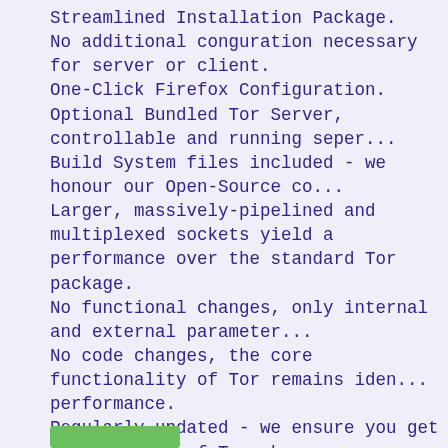Streamlined Installation Package.
No additional conguration necessary for server or client.
One-Click Firefox Configuration.
Optional Bundled Tor Server, controllable and running seper...
Build System files included - we honour our Open-Source co...
Larger, massively-pipelined and multiplexed sockets yield a performance over the standard Tor package.
No functional changes, only internal and external parameter...
No code changes, the core functionality of Tor remains iden... performance.
Regularly updated - we ensure you get the best out of Tor, k... latest versions !
*** NOW UPDATED : latest Tor 0.2.3.1-alpha !
*** NOW UPDATED : Firefox 4 supported !
*** NOW UPDATED : Plugins to improve privacy with Firefo...
PLEASE rate and review, this keeps us on our toes and ens... ASAP."
[Figure (other): Green button/bar element]